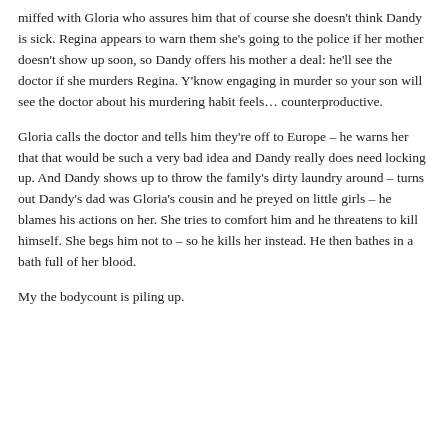miffed with Gloria who assures him that of course she doesn't think Dandy is sick. Regina appears to warn them she's going to the police if her mother doesn't show up soon, so Dandy offers his mother a deal: he'll see the doctor if she murders Regina. Y'know engaging in murder so your son will see the doctor about his murdering habit feels… counterproductive.
Gloria calls the doctor and tells him they're off to Europe – he warns her that that would be such a very bad idea and Dandy really does need locking up. And Dandy shows up to throw the family's dirty laundry around – turns out Dandy's dad was Gloria's cousin and he preyed on little girls – he blames his actions on her. She tries to comfort him and he threatens to kill himself. She begs him not to – so he kills her instead. He then bathes in a bath full of her blood.
My the bodycount is piling up.